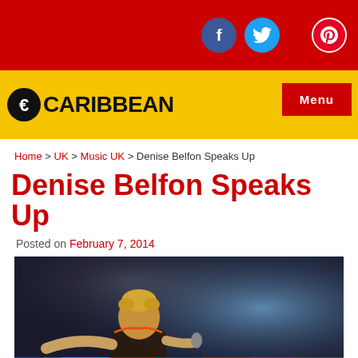EZ Caribbean - social icons: Facebook, Twitter, Pinterest
[Figure (logo): EZ Caribbean logo with yellow background and red Menu button]
Home > UK > Music UK > Denise Belfon Speaks Up
Denise Belfon Speaks Up
Posted on February 7, 2014
[Figure (photo): Denise Belfon performing on stage with microphone, dark stage with blue lighting, social share buttons overlay at bottom (Facebook, Twitter, Pinterest, Tumblr, Reddit, Flipboard, plus)]